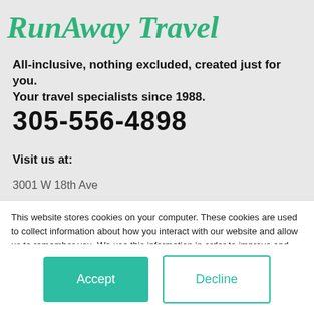[Figure (logo): RunAway Travel cursive green logo]
All-inclusive, nothing excluded, created just for you. Your travel specialists since 1988.
305-556-4898
Visit us at:
3001 W 18th Ave
This website stores cookies on your computer. These cookies are used to collect information about how you interact with our website and allow us to remember you. We use this information in order to improve and customize your browsing experience and for analytics and metrics about our visitors both on this website and other media. To find out more about the cookies we use, see our Privacy Policy.
If you decline, your information won’t be tracked when you visit this website. A single cookie will be used in your browser to remember your preference not to be tracked.
Accept
Decline